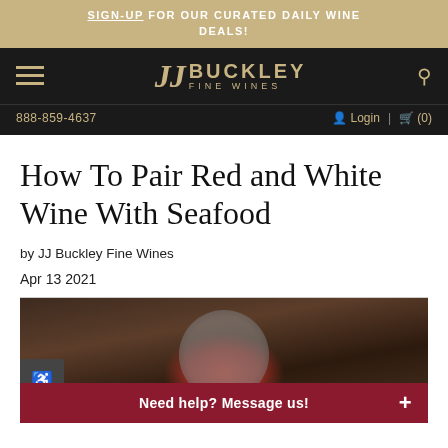SIGN-UP FOR OUR CURATED DAILY WINE DEALS!
[Figure (logo): JJ Buckley Fine Wines navigation bar with hamburger menu, logo, and search icon, plus phone number 888-859-4637 and Login/Cart links]
How To Pair Red and White Wine With Seafood
by JJ Buckley Fine Wines
Apr 13 2021
[Figure (photo): Food photo showing a dish on a dark wooden table background, with a circular plate visible]